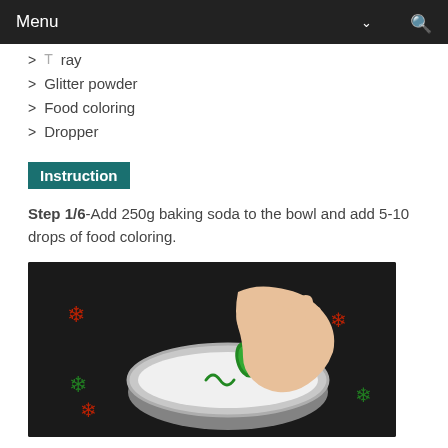Menu
Tray
Glitter powder
Food coloring
Dropper
Instruction
Step 1/6-Add 250g baking soda to the bowl and add 5-10 drops of food coloring.
[Figure (photo): A hand pressing a green dropper into a round metal bowl filled with white baking soda, on a dark surface decorated with red and green glitter snowflakes.]